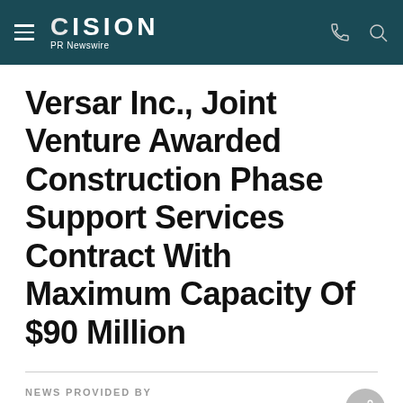CISION PR Newswire
Versar Inc., Joint Venture Awarded Construction Phase Support Services Contract With Maximum Capacity Of $90 Million
NEWS PROVIDED BY
Versar, Inc. →